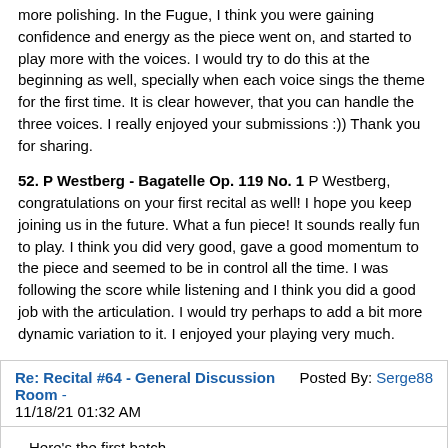more polishing. In the Fugue, I think you were gaining confidence and energy as the piece went on, and started to play more with the voices. I would try to do this at the beginning as well, specially when each voice sings the theme for the first time. It is clear however, that you can handle the three voices. I really enjoyed your submissions :)) Thank you for sharing.
52. P Westberg - Bagatelle Op. 119 No. 1 P Westberg, congratulations on your first recital as well! I hope you keep joining us in the future. What a fun piece! It sounds really fun to play. I think you did very good, gave a good momentum to the piece and seemed to be in control all the time. I was following the score while listening and I think you did a good job with the articulation. I would try perhaps to add a bit more dynamic variation to it. I enjoyed your playing very much.
Re: Recital #64 - General Discussion Room - 11/18/21 01:32 AM Posted By: Serge88
Here's the first batch,
01. Greta99 - Two Baltic Waltzes -"Tallinn" and "Vilnius" from "Reflections in Waltz"
Anything goes ! Ok, nothing to say it's just wonderful.
02. QuasiUnaFantasia - 10 pieces for piano, opus 24,7: Andantino
Beautiful !